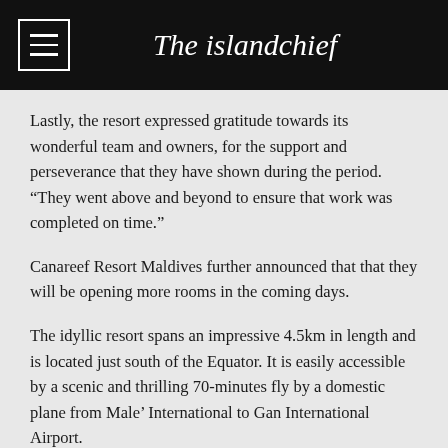The islandchief
Lastly, the resort expressed gratitude towards its wonderful team and owners, for the support and perseverance that they have shown during the period. “They went above and beyond to ensure that work was completed on time.”
Canareef Resort Maldives further announced that that they will be opening more rooms in the coming days.
The idyllic resort spans an impressive 4.5km in length and is located just south of the Equator. It is easily accessible by a scenic and thrilling 70-minutes fly by a domestic plane from Male’ International to Gan International Airport.
Comments